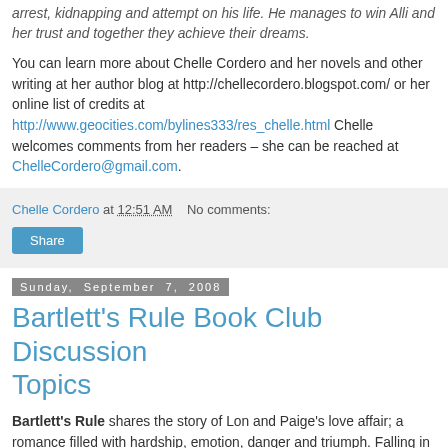arrest, kidnapping and attempt on his life. He manages to win Alli and her trust and together they achieve their dreams.
You can learn more about Chelle Cordero and her novels and other writing at her author blog at http://chellecordero.blogspot.com/ or her online list of credits at http://www.geocities.com/bylines333/res_chelle.html Chelle welcomes comments from her readers – she can be reached at ChelleCordero@gmail.com.
Chelle Cordero at 12:51 AM   No comments:
Share
Sunday, September 7, 2008
Bartlett's Rule Book Club Discussion Topics
Bartlett's Rule shares the story of Lon and Paige's love affair; a romance filled with hardship, emotion, danger and triumph. Falling in love was never the challenge; being there...